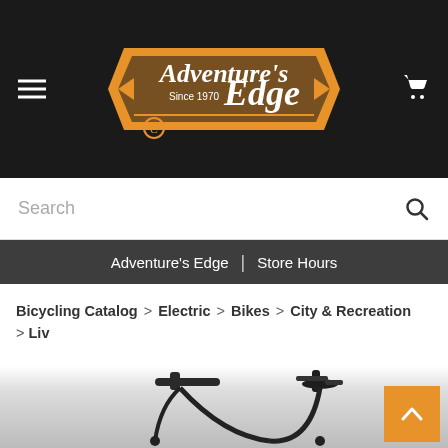[Figure (logo): Adventure's Edge Since 1970 logo with orange and white text on black background]
Search
Adventure's Edge | Store Hours
Bicycling Catalog > Electric > Bikes > City & Recreation > Liv
Liv
Amiti-E+ 2
[Figure (photo): Partial photo of a dark/black electric city bicycle showing saddle and handlebars from below]